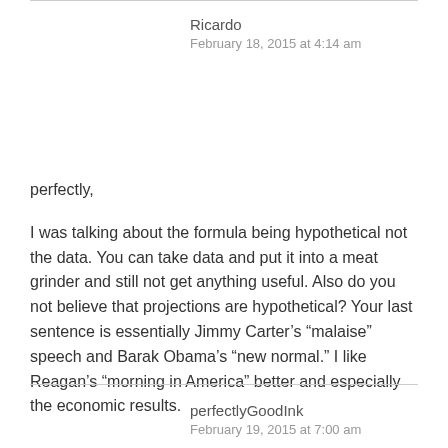Ricardo
February 18, 2015 at 4:14 am
perfectly,
I was talking about the formula being hypothetical not the data. You can take data and put it into a meat grinder and still not get anything useful. Also do you not believe that projections are hypothetical? Your last sentence is essentially Jimmy Carter’s “malaise” speech and Barak Obama’s “new normal.” I like Reagan’s “morning in America” better and especially the economic results.
perfectlyGoodInk
February 19, 2015 at 7:00 am